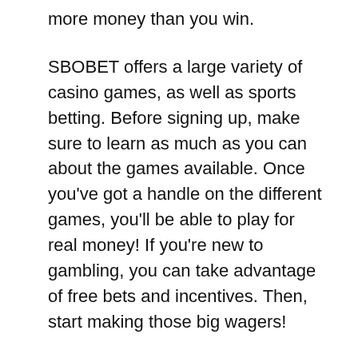more money than you win.
SBOBET offers a large variety of casino games, as well as sports betting. Before signing up, make sure to learn as much as you can about the games available. Once you’ve got a handle on the different games, you’ll be able to play for real money! If you’re new to gambling, you can take advantage of free bets and incentives. Then, start making those big wagers!
Another great advantage of playing online SBOBET is that you don’t have to visit a land-based casino to place a bet. By using virtual money, you can learn your betting strategies